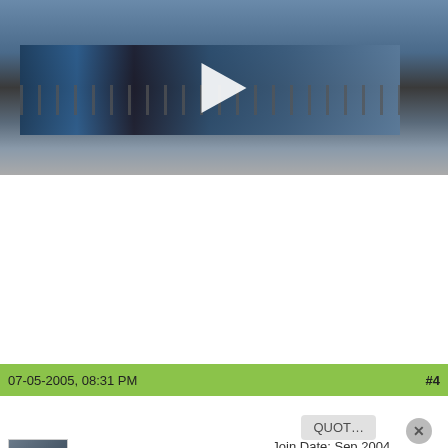[Figure (screenshot): Video thumbnail showing a pier/boardwalk over ocean water with a white play button triangle in the center. Dark structures and amusement park elements visible on the pier.]
07-05-2005, 08:31 PM  #4
jkath
Join Date: Sep 2004
Location: Southern California
Posts: 11,447
The Happiest of Birthdays to you MrsGB!